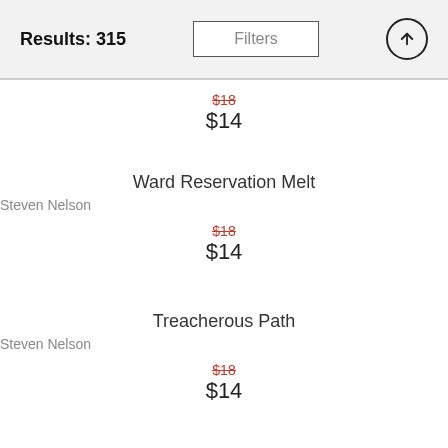Results: 315  Filters
$18 (strikethrough) $14
Ward Reservation Melt
Steven Nelson
$18 (strikethrough) $14
Treacherous Path
Steven Nelson
$18 (strikethrough) $14